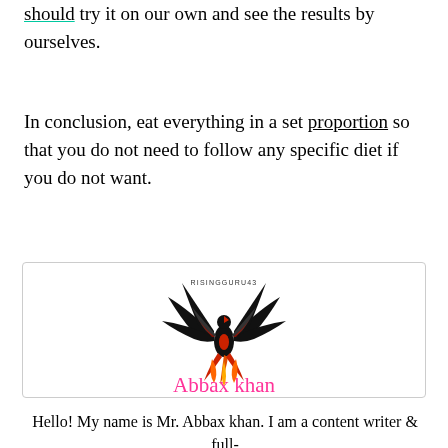should try it on our own and see the results by ourselves.
In conclusion, eat everything in a set proportion so that you do not need to follow any specific diet if you do not want.
[Figure (logo): Phoenix logo for RISINGGURU43 with black and red bird rising, text RISINGGURU43 above]
Abbax khan
Hello! My name is Mr. Abbax khan. I am a content writer & full-